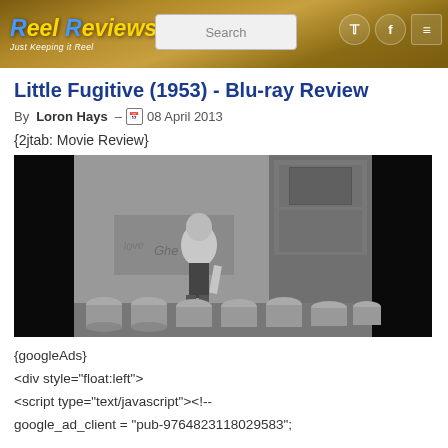Reel Reviews - Just Keeping it Reel | Search | [Twitter] [Facebook] [Menu]
Little Fugitive (1953) - Blu-ray Review
By Loron Hays – 08 April 2013
{2jtab: Movie Review}
[Figure (photo): Black and white still from Little Fugitive (1953) showing a young boy standing on milk cans near a wall with graffiti.]
{googleAds}
<div style="float:left">
<script type="text/javascript"><!--
google_ad_client = "pub-9764823118029583";